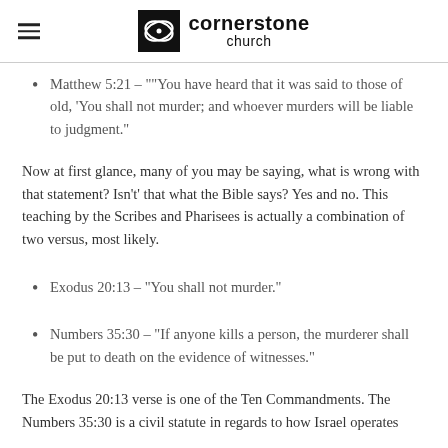cornerstone church
Matthew 5:21 – "“You have heard that it was said to those of old, ‘You shall not murder; and whoever murders will be liable to judgment.”
Now at first glance, many of you may be saying, what is wrong with that statement? Isn’t’ that what the Bible says? Yes and no. This teaching by the Scribes and Pharisees is actually a combination of two versus, most likely.
Exodus 20:13 – “You shall not murder.”
Numbers 35:30 – “If anyone kills a person, the murderer shall be put to death on the evidence of witnesses.”
The Exodus 20:13 verse is one of the Ten Commandments. The Numbers 35:30 is a civil statute in regards to how Israel operates